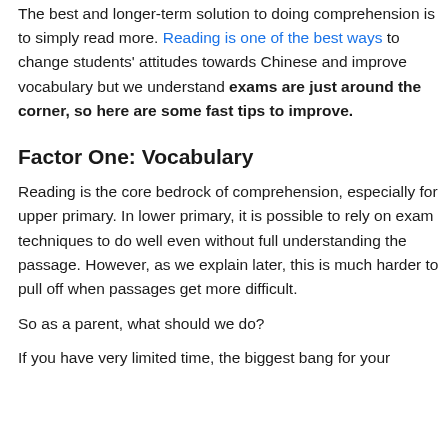The best and longer-term solution to doing comprehension is to simply read more. Reading is one of the best ways to change students' attitudes towards Chinese and improve vocabulary but we understand exams are just around the corner, so here are some fast tips to improve.
Factor One: Vocabulary
Reading is the core bedrock of comprehension, especially for upper primary. In lower primary, it is possible to rely on exam techniques to do well even without full understanding the passage. However, as we explain later, this is much harder to pull off when passages get more difficult.
So as a parent, what should we do?
If you have very limited time, the biggest bang for your